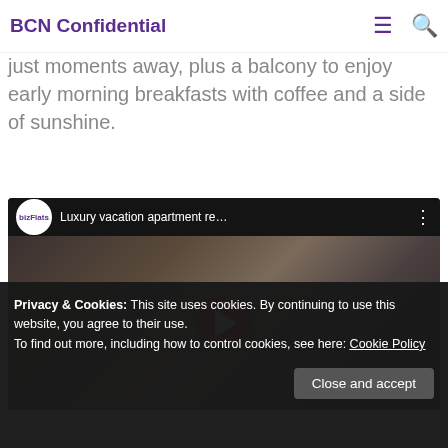BCN Confidential
to the Gran Teatre del Liceu, a temple of music with world-wide recognition, plus Plaça Reial just moments away, plus a balcony to enjoy early morning breakfasts with coffee and a side of sunshine.
[Figure (screenshot): YouTube video embed showing a luxury vacation apartment bedroom video by bizFlats, with play button overlay]
Privacy & Cookies: This site uses cookies. By continuing to use this website, you agree to their use.
To find out more, including how to control cookies, see here: Cookie Policy
up in the beautiful neighbourhood of Eixample